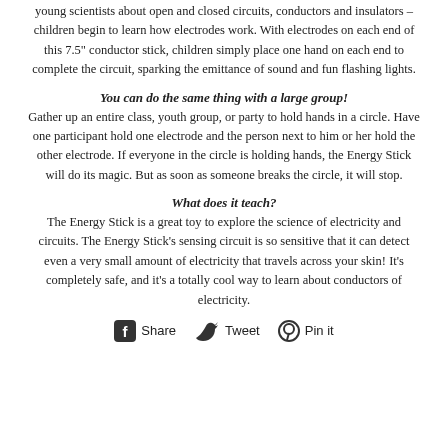young scientists about open and closed circuits, conductors and insulators –children begin to learn how electrodes work. With electrodes on each end of this 7.5" conductor stick, children simply place one hand on each end to complete the circuit, sparking the emittance of sound and fun flashing lights.
You can do the same thing with a large group!
Gather up an entire class, youth group, or party to hold hands in a circle. Have one participant hold one electrode and the person next to him or her hold the other electrode. If everyone in the circle is holding hands, the Energy Stick will do its magic. But as soon as someone breaks the circle, it will stop.
What does it teach?
The Energy Stick is a great toy to explore the science of electricity and circuits. The Energy Stick's sensing circuit is so sensitive that it can detect even a very small amount of electricity that travels across your skin! It's completely safe, and it's a totally cool way to learn about conductors of electricity.
[Figure (infographic): Social sharing bar with Facebook Share, Twitter Tweet, and Pinterest Pin it icons and labels]